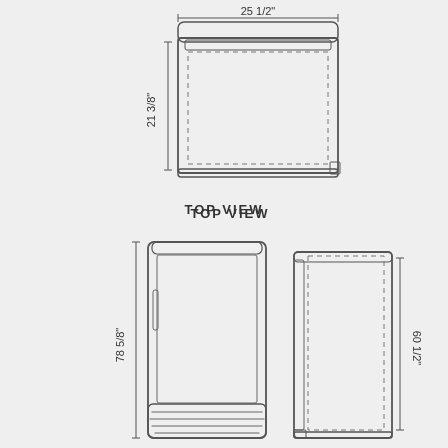[Figure (engineering-diagram): Technical drawing of a refrigerator/appliance showing three views: top view (with dimensions 25 1/2 inches wide by 21 3/8 inches deep), front view (78 5/8 inches tall), and side view (60 1/2 inches tall). The top view shows a dashed rectangle indicating interior space. The front view shows a tall upright unit with a door and ventilation grille at the bottom. The side view shows the unit from the side with a dashed rectangle indicating interior space.]
TOP VIEW